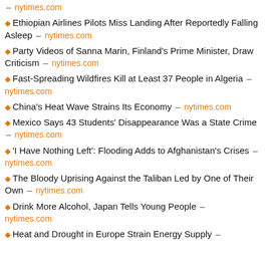nytimes.com
Ethiopian Airlines Pilots Miss Landing After Reportedly Falling Asleep – nytimes.com
Party Videos of Sanna Marin, Finland's Prime Minister, Draw Criticism – nytimes.com
Fast-Spreading Wildfires Kill at Least 37 People in Algeria – nytimes.com
China's Heat Wave Strains Its Economy – nytimes.com
Mexico Says 43 Students' Disappearance Was a State Crime – nytimes.com
'I Have Nothing Left': Flooding Adds to Afghanistan's Crises – nytimes.com
The Bloody Uprising Against the Taliban Led by One of Their Own – nytimes.com
Drink More Alcohol, Japan Tells Young People – nytimes.com
Heat and Drought in Europe Strain Energy Supply –